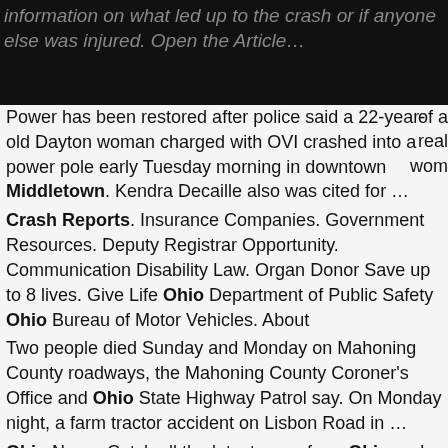information on what led up to the crash or if anyone else was injured. Open the Article…
Power has been restored after police said a 22-year-old Dayton woman charged with OVI crashed into a power pole early Tuesday morning in downtown Middletown. Kendra Decaille also was cited for …
Crash Reports. Insurance Companies. Government Resources. Deputy Registrar Opportunity. Communication Disability Law. Organ Donor Save up to 8 lives. Give Life Ohio Department of Public Safety Ohio Bureau of Motor Vehicles. About
Two people died Sunday and Monday on Mahoning County roadways, the Mahoning County Coroner's Office and Ohio State Highway Patrol say. On Monday night, a farm tractor accident on Lisbon Road in …
Ohio News: Catch all the latest news from Ohio and World, news from Business, Money, Technology, … One killed in motorcycle crash in Middletown; What does the climate bill include? … 2000 overall since July: report; Anne Heche has severe brain damage, no chance of surviving crash; US inflation was 0% in July, still